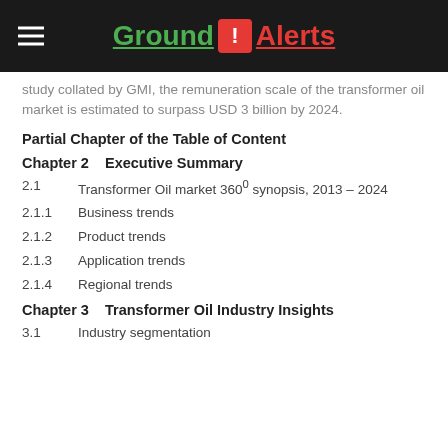Ground ! Alerts
study collated by GMI, the remuneration scale of the transformer oil market is estimated to surpass USD 3 billion by 2024.
Partial Chapter of the Table of Content
Chapter 2    Executive Summary
2.1    Transformer Oil market 360° synopsis, 2013 – 2024
2.1.1    Business trends
2.1.2    Product trends
2.1.3    Application trends
2.1.4    Regional trends
Chapter 3    Transformer Oil Industry Insights
3.1    Industry segmentation